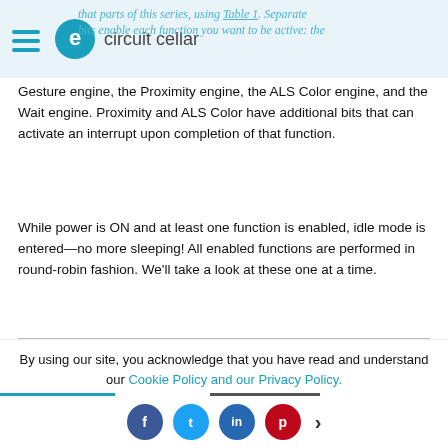circuit cellar
that parts of this series, using Table 1. Separate bits enable each function you want to be active: the Gesture engine, the Proximity engine, the ALS Color engine, and the Wait engine. Proximity and ALS Color have additional bits that can activate an interrupt upon completion of that function.
While power is ON and at least one function is enabled, idle mode is entered—no more sleeping! All enabled functions are performed in round-robin fashion. We'll take a look at these one at a time.
| Field | Bit | Register 0x80 ENABLE Description |
| --- | --- | --- |
| Reserved | 7 | Not used (0) |
| GEN | 6 | Gesture Enable |
| PIEN | 5 | Proximity Interrupt Enable |
By using our site, you acknowledge that you have read and understand our Cookie Policy and our Privacy Policy.
Social share buttons: Facebook, Twitter, LinkedIn, Pinterest